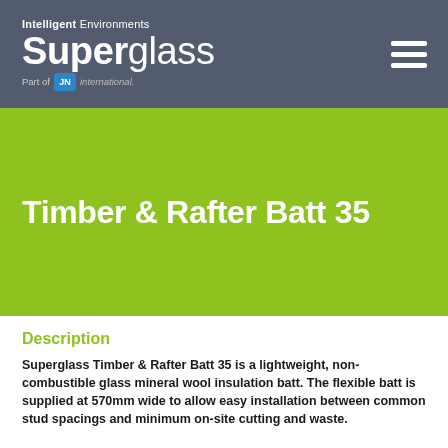Intelligent Environments Superglass — Part of JN International
[Figure (logo): Superglass Intelligent Environments logo with 'Super' in bold white and 'glass' in light white text, Part of JN International badge, on dark grey background. Hamburger menu icon on right.]
Timber & Rafter Batt 35
Description
Superglass Timber & Rafter Batt 35 is a lightweight, non-combustible glass mineral wool insulation batt. The flexible batt is supplied at 570mm wide to allow easy installation between common stud spacings and minimum on-site cutting and waste.